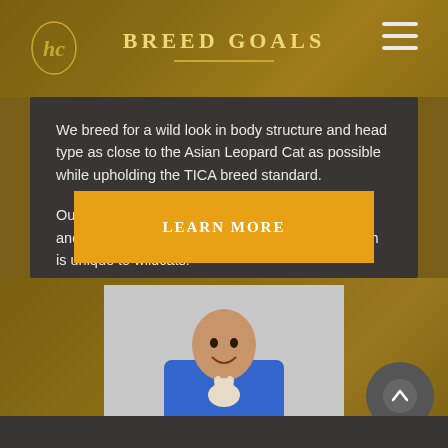BREED GOALS
We breed for a wild look in body structure and head type as close to the Asian Leopard Cat as possible while upholding the TICA breed standard.
Our focus is on the development of the authentic and beautiful whited countershading pattern which is unique to wildcats.
LEARN MORE
[Figure (photo): A smiling man in a blue shirt holding a small kitten]